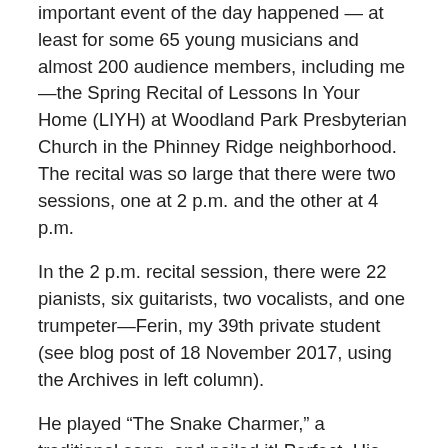important event of the day happened — at least for some 65 young musicians and almost 200 audience members, including me—the Spring Recital of Lessons In Your Home (LIYH) at Woodland Park Presbyterian Church in the Phinney Ridge neighborhood. The recital was so large that there were two sessions, one at 2 p.m. and the other at 4 p.m.
In the 2 p.m. recital session, there were 22 pianists, six guitarists, two vocalists, and one trumpeter—Ferin, my 39th private student (see blog post of 18 November 2017, using the Archives in left column).
He played “The Snake Charmer,” a traditional song, and nailed it! Perfect. His parents and I are so proud of him. Here's a video, taken by Shilo Jones, of his performance: https://drive.google.com/file/d/1Nw_zQxkVsXfEzPTuIxT7IgYS5AH3kRHZ/view?usp=sharing